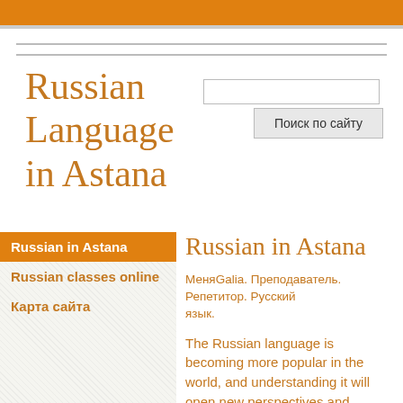Russian Language in Astana
Russian in Astana
Russian classes online
Карта сайта
Russian in Astana
МеняGalia. Преподаватель. Репетитор. Русский язык.
The Russian language is becoming more popular in the world, and understanding it will open new perspectives and horizons to you.
I love teaching Russian because ru...